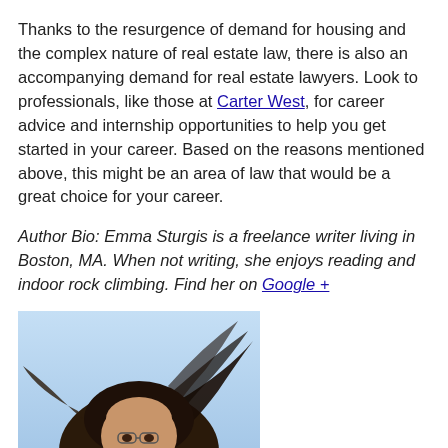Thanks to the resurgence of demand for housing and the complex nature of real estate law, there is also an accompanying demand for real estate lawyers. Look to professionals, like those at Carter West, for career advice and internship opportunities to help you get started in your career. Based on the reasons mentioned above, this might be an area of law that would be a great choice for your career.
Author Bio: Emma Sturgis is a freelance writer living in Boston, MA. When not writing, she enjoys reading and indoor rock climbing. Find her on Google +
[Figure (photo): Headshot photo of a woman with dark hair against a light blue sky background, hair blowing in the wind, wearing glasses.]